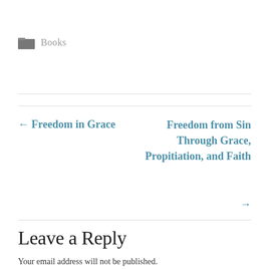Books
← Freedom in Grace
Freedom from Sin Through Grace, Propitiation, and Faith →
Leave a Reply
Your email address will not be published.